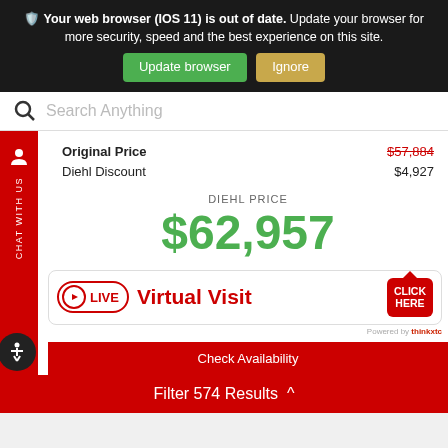Your web browser (IOS 11) is out of date. Update your browser for more security, speed and the best experience on this site.
Update browser | Ignore
Search Anything
Original Price   $57,884
Diehl Discount   $4,927
DIEHL PRICE
$62,957
[Figure (infographic): LIVE Virtual Visit banner with play button badge, red text 'Virtual Visit', and red 'CLICK HERE' button]
Check Availability
Filter 574 Results ^